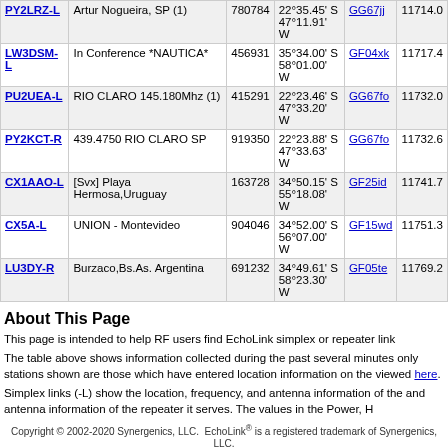| Callsign | Location | Node | Coordinates | Grid | Dist |
| --- | --- | --- | --- | --- | --- |
| PY2LRZ-L | Artur Nogueira, SP (1) | 780784 | 22°35.45' S 47°11.91' W | GG67jj | 11714.0 |
| LW3DSM-L | In Conference *NAUTICA* | 456931 | 35°34.00' S 58°01.00' W | GF04xk | 11717.4 |
| PU2UEA-L | RIO CLARO 145.180Mhz (1) | 415291 | 22°23.46' S 47°33.20' W | GG67fo | 11732.0 |
| PY2KCT-R | 439.4750 RIO CLARO SP | 919350 | 22°23.88' S 47°33.63' W | GG67fo | 11732.6 |
| CX1AAO-L | [Svx] Playa Hermosa,Uruguay | 163728 | 34°50.15' S 55°18.08' W | GF25id | 11741.7 |
| CX5A-L | UNION - Montevideo | 904046 | 34°52.00' S 56°07.00' W | GF15wd | 11751.3 |
| LU3DY-R | Burzaco,Bs.As. Argentina | 691232 | 34°49.61' S 58°23.30' W | GF05te | 11769.2 |
About This Page
This page is intended to help RF users find EchoLink simplex or repeater link
The table above shows information collected during the past several minutes only stations shown are those which have entered location information on the viewed here.
Simplex links (-L) show the location, frequency, and antenna information of the and antenna information of the repeater it serves. The values in the Power, H
Copyright © 2002-2020 Synergenics, LLC.  EchoLink® is a registered trademark of Synergenics, LLC.